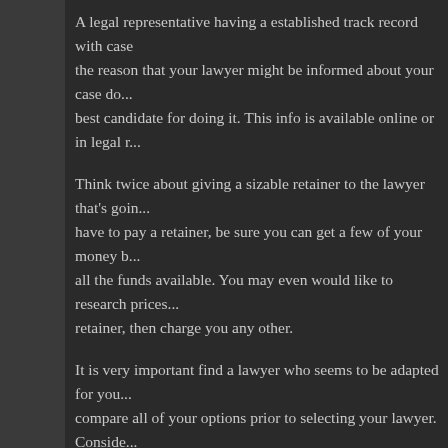A legal representative having a established track record with case... the reason that your lawyer might be informed about your case do... best candidate for doing it. This info is available online or in legal r...
Think twice about giving a sizable retainer to the lawyer that's goin... have to pay a retainer, be sure you can get a few of your money b... all the funds available. You may even would like to research prices... retainer, then charge you any other.
It is very important find a lawyer who seems to be adapted for you... compare all of your options prior to selecting your lawyer. Conside... carefully, and create a good option!.
Posted by Stephany Johnson on November 17, 2018
One Taboos About Personal Injury Atlanta, GA You ought to By no me... Twitter.
Posted in: Blog. Tagged: lawyers.